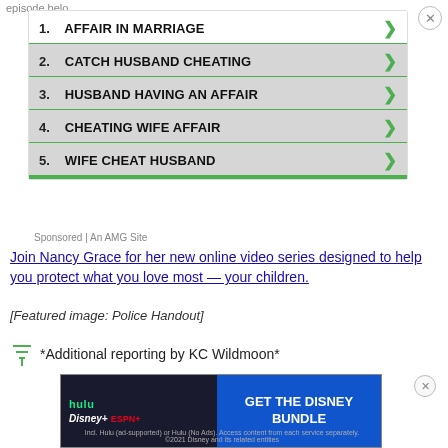episode below
[Figure (screenshot): Sponsored ad block with 5 clickable items: 1. AFFAIR IN MARRIAGE, 2. CATCH HUSBAND CHEATING, 3. HUSBAND HAVING AN AFFAIR, 4. CHEATING WIFE AFFAIR, 5. WIFE CHEAT HUSBAND. Each item has a green chevron arrow on the right and a green separator line below. A video thumbnail is visible behind items 2-5.]
Sponsored | An AMG Site
Join Nancy Grace for her new online video series designed to help you protect what you love most — your children.
[Featured image: Police Handout]
*Additional reporting by KC Wildmoon*
[Figure (screenshot): Bottom banner advertisement for the Disney Bundle featuring Hulu, Disney+, and ESPN+ logos with a blue 'GET THE DISNEY BUNDLE' button and fine print below.]